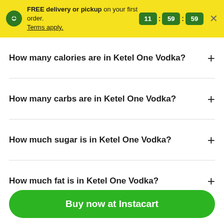FREE delivery or pickup on your first order. Terms apply. 11:59:59
How many calories are in Ketel One Vodka?
How many carbs are in Ketel One Vodka?
How much sugar is in Ketel One Vodka?
How much fat is in Ketel One Vodka?
Buy now at Instacart